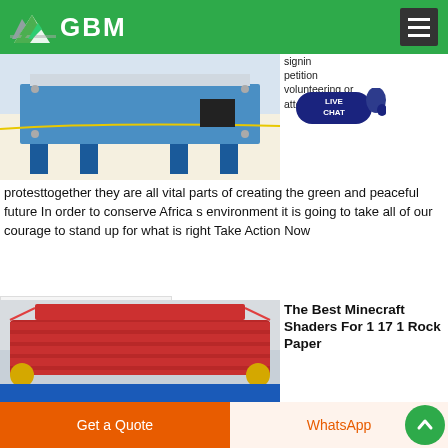GBM
[Figure (photo): Industrial machine/equipment with blue metal frame on warehouse floor]
signing petition volunteering or attending a protesttogether they are all vital parts of creating the green and peaceful future In order to conserve Africa s environment it is going to take all of our courage to stand up for what is right Take Action Now
Chatear en línea
[Figure (photo): Red industrial conveyor belt or vibrating screen equipment with gold/yellow rollers, blue base]
The Best Minecraft Shaders For 1 17 1 Rock Paper
Get a Quote   WhatsApp